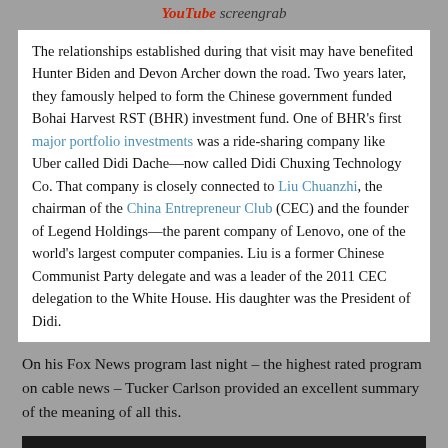YouTube screengrab
The relationships established during that visit may have benefited Hunter Biden and Devon Archer down the road. Two years later, they famously helped to form the Chinese government funded Bohai Harvest RST (BHR) investment fund. One of BHR’s first major portfolio investments was a ride-sharing company like Uber called Didi Dache—now called Didi Chuxing Technology Co. That company is closely connected to Liu Chuanzhi, the chairman of the China Entrepreneur Club (CEC) and the founder of Legend Holdings—the parent company of Lenovo, one of the world’s largest computer companies. Liu is a former Chinese Communist Party delegate and was a leader of the 2011 CEC delegation to the White House. His daughter was the President of Didi.
On his Fox News program last night – the highest rated program on cable news – Tucker Carlson provided an excellent summary of the meaning of all this.
[Figure (screenshot): Dark/black video thumbnail area]